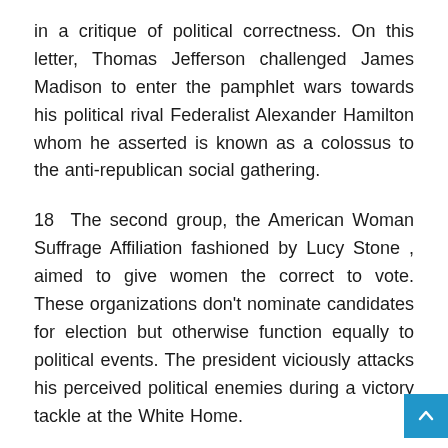in a critique of political correctness. On this letter, Thomas Jefferson challenged James Madison to enter the pamphlet wars towards his political rival Federalist Alexander Hamilton whom he asserted is known as a colossus to the anti-republican social gathering.
18 The second group, the American Woman Suffrage Affiliation fashioned by Lucy Stone , aimed to give women the correct to vote. These organizations don't nominate candidates for election but otherwise function equally to political events. The president viciously attacks his perceived political enemies during a victory tackle at the White Home.
The Compromise of 1790 grew to become a focal point for the emerging Federalist and Republican events. Ryan was